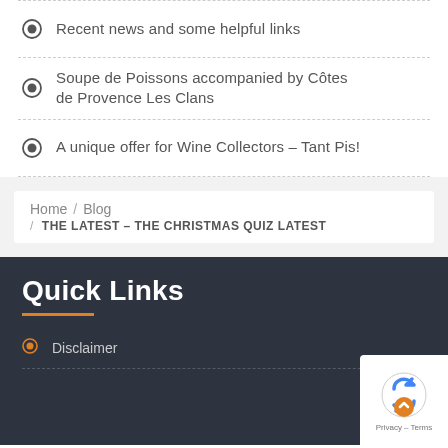Recent news and some helpful links
Soupe de Poissons accompanied by Côtes de Provence Les Clans
A unique offer for Wine Collectors – Tant Pis!
Home / Blog / THE LATEST – THE CHRISTMAS QUIZ LATEST
Quick Links
Disclaimer